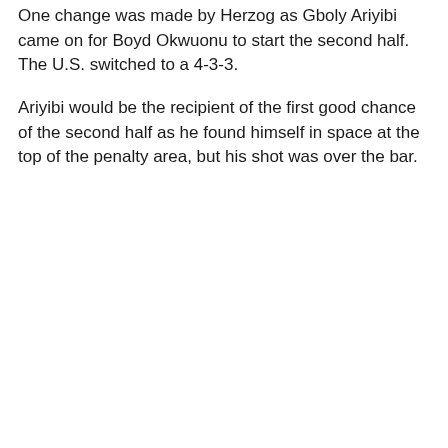One change was made by Herzog as Gboly Ariyibi came on for Boyd Okwuonu to start the second half. The U.S. switched to a 4-3-3.
Ariyibi would be the recipient of the first good chance of the second half as he found himself in space at the top of the penalty area, but his shot was over the bar.